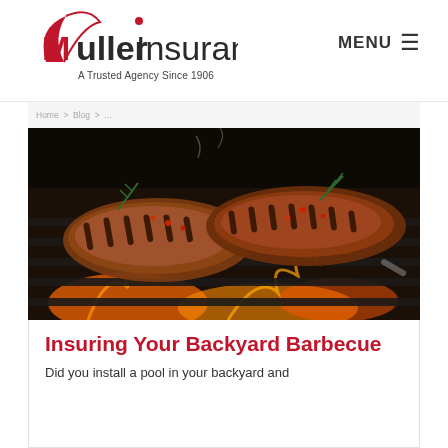Muller Insurance — A Trusted Agency Since 1906
[Figure (photo): Two seasoned steaks cooking on a flaming barbecue grill with rosemary garnish and glowing orange flames visible beneath the grill grates]
Insuring Your Backyard Barbecue
Did you install a pool in your backyard and